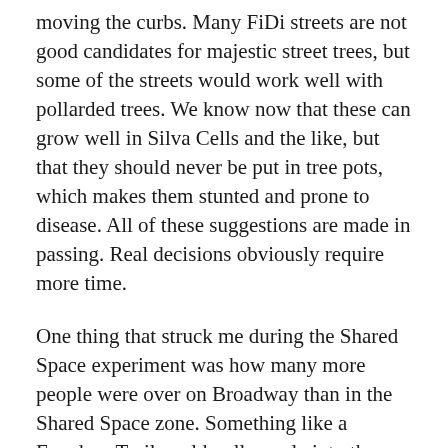moving the curbs. Many FiDi streets are not good candidates for majestic street trees, but some of the streets would work well with pollarded trees. We know now that these can grow well in Silva Cells and the like, but that they should never be put in tree pots, which makes them stunted and prone to disease. All of these suggestions are made in passing. Real decisions obviously require more time.
One thing that struck me during the Shared Space experiment was how many more people were over on Broadway than in the Shared Space zone. Something like a Freedom Trail could pull people into the Slow Zone, as well as beyond the intersection of Broad and Wall. Without looking at the numbers, one imagines that Ground Zero must be an enormous tourist draw. Many tourists also make it over to